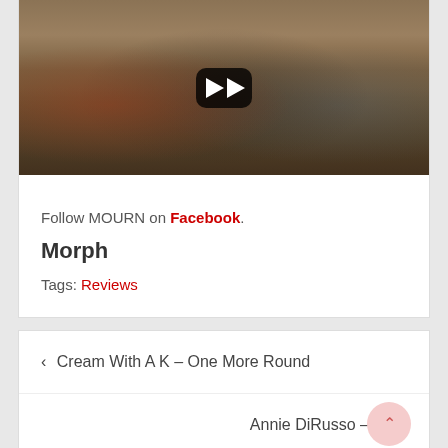[Figure (photo): Video thumbnail showing three young people sitting on a brown leather couch with a YouTube play button overlay]
Follow MOURN on Facebook.
Morph
Tags: Reviews
< Cream With A K – One More Round
Annie DiRusso – 20 >